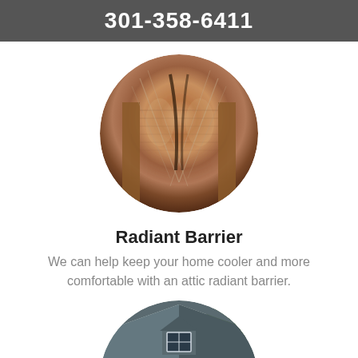301-358-6411
[Figure (photo): Circular cropped photo of radiant barrier foil insulation material in an attic, showing copper/metallic reflective foil texture with wooden framing.]
Radiant Barrier
We can help keep your home cooler and more comfortable with an attic radiant barrier.
[Figure (photo): Circular cropped photo of the exterior of a house showing a gray shingled roof dormer with a window and a white garage door below, with brick accents.]